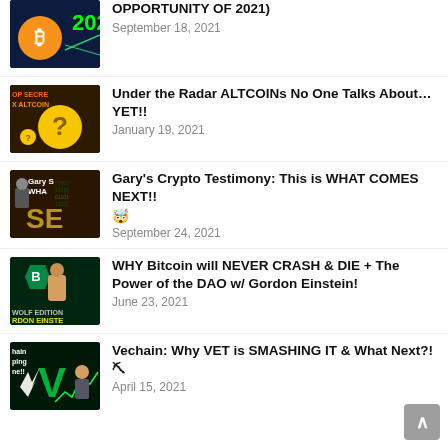OPPORTUNITY OF 2021)
September 18, 2021
Under the Radar ALTCOINs No One Talks About…YET!!
January 19, 2021
Gary's Crypto Testimony: This is WHAT COMES NEXT!!
September 24, 2021
WHY Bitcoin will NEVER CRASH & DIE + The Power of the DAO w/ Gordon Einstein!
June 23, 2021
Vechain: Why VET is SMASHING IT & What Next?! ⛏
April 15, 2021